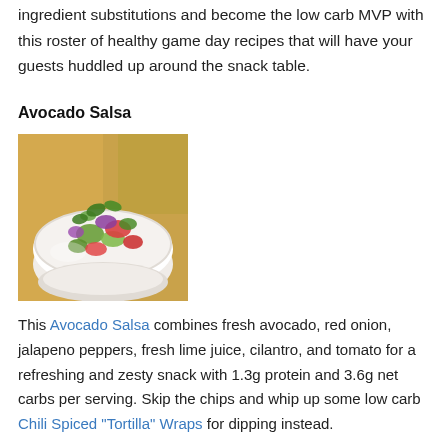ingredient substitutions and become the low carb MVP with this roster of healthy game day recipes that will have your guests huddled up around the snack table.
Avocado Salsa
[Figure (photo): A white bowl filled with colorful avocado salsa including red tomatoes, purple onion, green avocado, and cilantro garnish.]
This Avocado Salsa combines fresh avocado, red onion, jalapeno peppers, fresh lime juice, cilantro, and tomato for a refreshing and zesty snack with 1.3g protein and 3.6g net carbs per serving. Skip the chips and whip up some low carb Chili Spiced "Tortilla" Wraps for dipping instead.